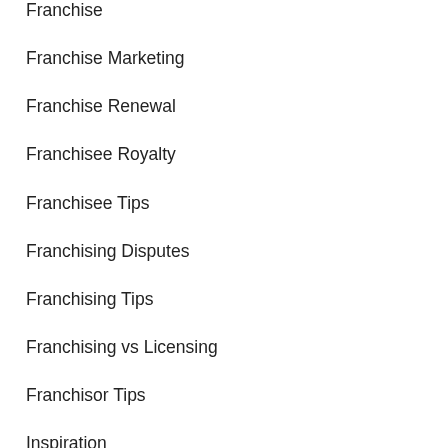Franchise
Franchise Marketing
Franchise Renewal
Franchisee Royalty
Franchisee Tips
Franchising Disputes
Franchising Tips
Franchising vs Licensing
Franchisor Tips
Inspiration
Latest News
Learning